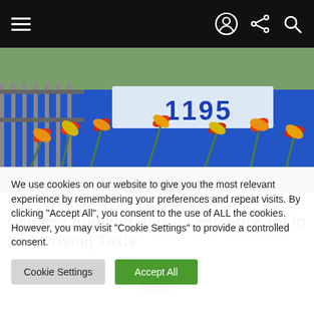Navigation bar with hamburger menu, user icon, share icon, search icon
[Figure (photo): Outdoor photo showing address sign '1195' with blue banner, foreground of red and yellow flowers/daylilies against green foliage]
21 Shares   626 Views
Chinese Apollo RT6 Is a Leap Forward in Self-Driving Taxis
We use cookies on our website to give you the most relevant experience by remembering your preferences and repeat visits. By clicking "Accept All", you consent to the use of ALL the cookies. However, you may visit "Cookie Settings" to provide a controlled consent.
Cookie Settings | Accept All